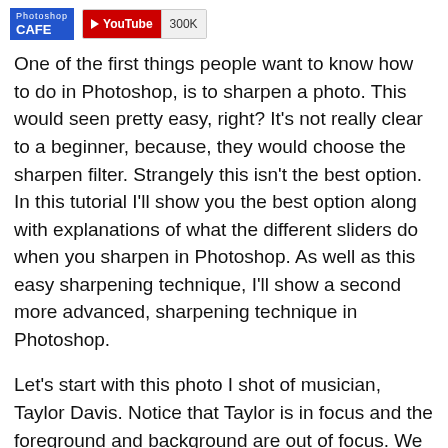Photoshop CAFE | YouTube 300K
One of the first things people want to know how to do in Photoshop, is to sharpen a photo. This would seen pretty easy, right? It's not really clear to a beginner, because, they would choose the sharpen filter. Strangely this isn't the best option. In this tutorial I'll show you the best option along with explanations of what the different sliders do when you sharpen in Photoshop. As well as this easy sharpening technique, I'll show a second more advanced, sharpening technique in Photoshop.
Let's start with this photo I shot of musician, Taylor Davis. Notice that Taylor is in focus and the foreground and background are out of focus. We want to sharpen the in focus area.